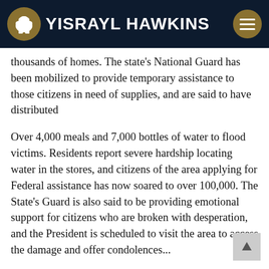YISRAYL HAWKINS
thousands of homes. The state's National Guard has been mobilized to provide temporary assistance to those citizens in need of supplies, and are said to have distributed
Over 4,000 meals and 7,000 bottles of water to flood victims. Residents report severe hardship locating water in the stores, and citizens of the area applying for Federal assistance has now soared to over 100,000. The State's Guard is also said to be providing emotional support for citizens who are broken with desperation, and the President is scheduled to visit the area to access the damage and offer condolences...
These days if it isn't the water then it's the air. In Indiana tornadoes ravaged the city of Kokomo. Residents describe being huddled together in one